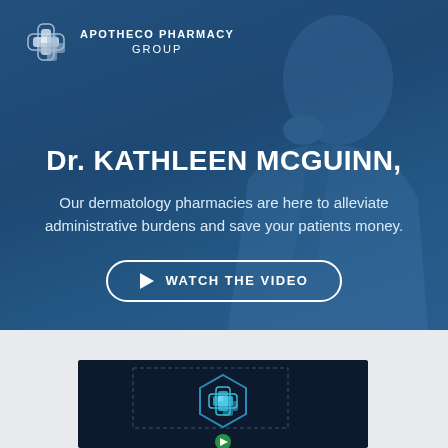[Figure (logo): Apotheco Pharmacy Group logo — cross/plus icon in white with text APOTHECO PHARMACY GROUP]
Dr. KATHLEEN MCGUINN,
Our dermatology pharmacies are here to alleviate administrative burdens and save your patients money.
[Figure (other): WATCH THE VIDEO button with play triangle icon, rounded rectangle border]
[Figure (screenshot): Video thumbnail showing dark background with Apotheco Pharmacy Group hexagonal logo icon and a play button at bottom center]